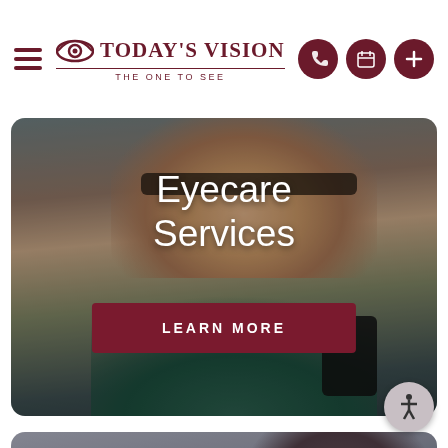Today's Vision — The One To See
[Figure (photo): Hero banner showing a smiling woman wearing glasses holding a phone, with text 'Eyecare Services' and a 'LEARN MORE' button overlay]
Eyecare Services
LEARN MORE
[Figure (photo): Partial second section showing a person in an eye exam chair, with the word 'Keep' visible at bottom]